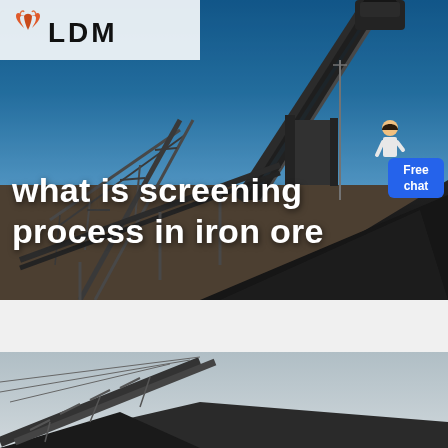[Figure (photo): Industrial iron ore screening facility with conveyor belts, structural steel framework, and stockpile of crushed ore against a blue sky background. LDM logo visible in top left. 'Free chat' button overlay in top right area.]
what is screening process in iron ore
[Figure (photo): Close-up view of industrial conveyor belt structure at an iron ore processing facility against a pale sky.]